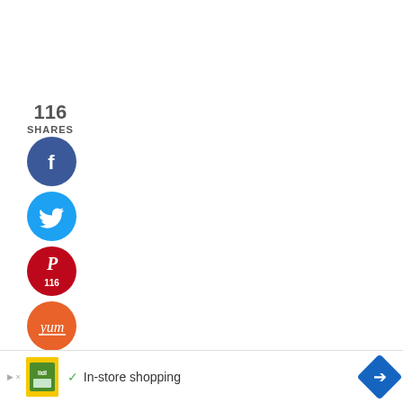116
SHARES
[Figure (infographic): Social share buttons: Facebook (blue circle with f), Twitter (cyan circle with bird), Pinterest (red circle with P and count 116), Yum (orange circle with 'yum' text)]
[Figure (infographic): Advertisement banner at bottom: Lidl store shopping ad with yellow product image, checkmark, 'In-store shopping' text, and blue diamond arrow icon]